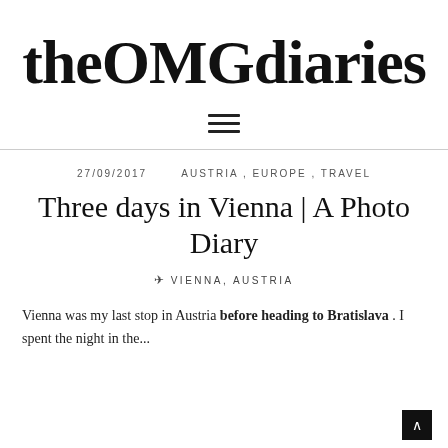theOMGdiaries
[Figure (other): Hamburger menu icon (three horizontal lines)]
27/09/2017   AUSTRIA , EUROPE , TRAVEL
Three days in Vienna | A Photo Diary
✈ VIENNA, AUSTRIA
Vienna was my last stop in Austria before heading to Bratislava . I spent the night in the...